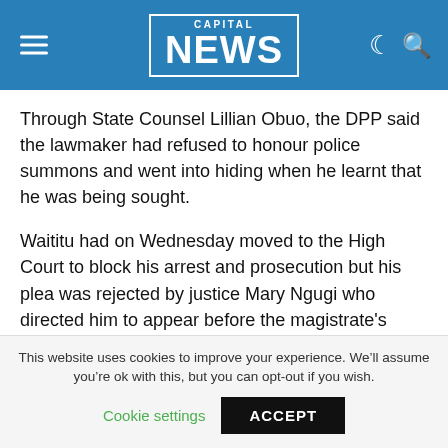CAPITAL NEWS
Through State Counsel Lillian Obuo, the DPP said the lawmaker had refused to honour police summons and went into hiding when he learnt that he was being sought.
Waititu had on Wednesday moved to the High Court to block his arrest and prosecution but his plea was rejected by justice Mary Ngugi who directed him to appear before the magistrate’s court on Thursday morning to plead to the charges.
Justice Ngugi said: “Individual liberty is important and must not be tampered with but the law must also be
This website uses cookies to improve your experience. We’ll assume you’re ok with this, but you can opt-out if you wish.
Cookie settings  ACCEPT